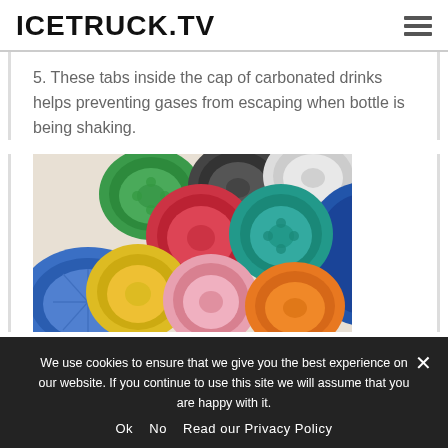ICETRUCK.TV
5. These tabs inside the cap of carbonated drinks helps preventing gases from escaping when bottle is being shaking.
[Figure (photo): Colorful plastic bottle caps (blue, green, red, yellow, orange, white, teal) viewed from the inside, showing the tabs/ridges on the inner surface.]
We use cookies to ensure that we give you the best experience on our website. If you continue to use this site we will assume that you are happy with it.
Ok   No   Read our Privacy Policy